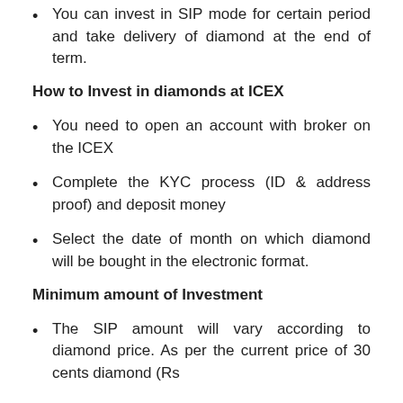You can invest in SIP mode for certain period and take delivery of diamond at the end of term.
How to Invest in diamonds at ICEX
You need to open an account with broker on the ICEX
Complete the KYC process (ID & address proof) and deposit money
Select the date of month on which diamond will be bought in the electronic format.
Minimum amount of Investment
The SIP amount will vary according to diamond price. As per the current price of 30 cents diamond (Rs